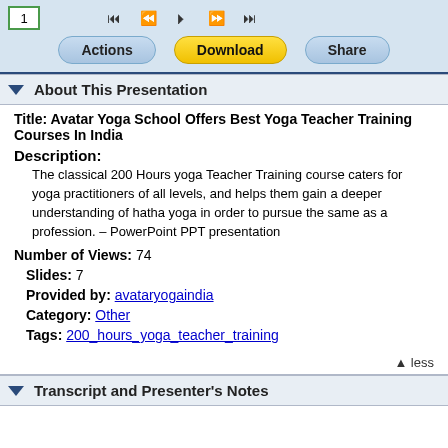[Figure (screenshot): Toolbar with page number box showing '1', navigation buttons (skip back, back, play, forward, skip forward), and three buttons: Actions (blue), Download (yellow), Share (blue)]
About This Presentation
Title: Avatar Yoga School Offers Best Yoga Teacher Training Courses In India
Description: The classical 200 Hours yoga Teacher Training course caters for yoga practitioners of all levels, and helps them gain a deeper understanding of hatha yoga in order to pursue the same as a profession. – PowerPoint PPT presentation
Number of Views: 74
Slides: 7
Provided by: avataryogaindia
Category: Other
Tags: 200_hours_yoga_teacher_training
▲ less
Transcript and Presenter's Notes